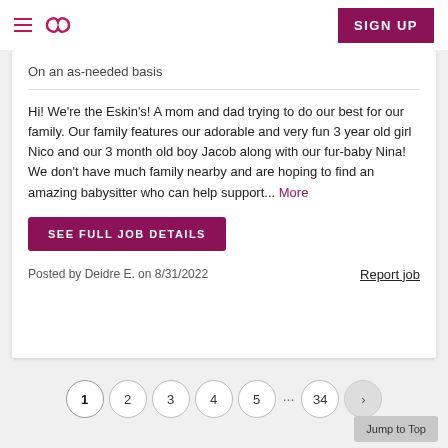Sittercity — Navigation bar with hamburger menu, logo, and SIGN UP button
On an as-needed basis
Hi! We're the Eskin's! A mom and dad trying to do our best for our family. Our family features our adorable and very fun 3 year old girl Nico and our 3 month old boy Jacob along with our fur-baby Nina! We don't have much family nearby and are hoping to find an amazing babysitter who can help support... More
SEE FULL JOB DETAILS
Posted by Deidre E. on 8/31/2022
Report job
1 2 3 4 5 … 34 > Jump to Top